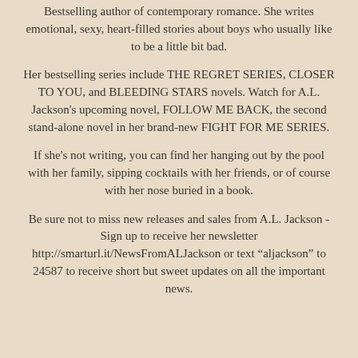Bestselling author of contemporary romance. She writes emotional, sexy, heart-filled stories about boys who usually like to be a little bit bad.
Her bestselling series include THE REGRET SERIES, CLOSER TO YOU, and BLEEDING STARS novels. Watch for A.L. Jackson's upcoming novel, FOLLOW ME BACK, the second stand-alone novel in her brand-new FIGHT FOR ME SERIES.
If she's not writing, you can find her hanging out by the pool with her family, sipping cocktails with her friends, or of course with her nose buried in a book.
Be sure not to miss new releases and sales from A.L. Jackson - Sign up to receive her newsletter http://smarturl.it/NewsFromALJackson or text “aljackson” to 24587 to receive short but sweet updates on all the important news.